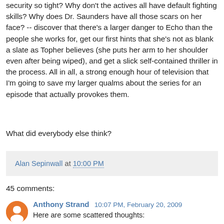security so tight? Why don't the actives all have default fighting skills? Why does Dr. Saunders have all those scars on her face? -- discover that there's a larger danger to Echo than the people she works for, get our first hints that she's not as blank a slate as Topher believes (she puts her arm to her shoulder even after being wiped), and get a slick self-contained thriller in the process. All in all, a strong enough hour of television that I'm going to save my larger qualms about the series for an episode that actually provokes them.
What did everybody else think?
Alan Sepinwall at 10:00 PM
45 comments:
Anthony Strand 10:07 PM, February 20, 2009
Here are some scattered thoughts:
The main plotline was laughably bad. I was hoping for more